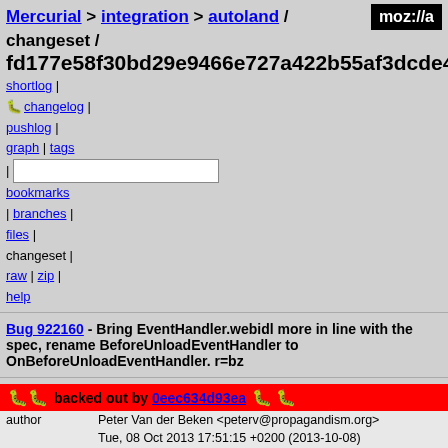Mercurial > integration > autoland / changeset / fd177e58f30bd29e9466e727a422b55af3dcde43
shortlog | changelog | pushlog | graph | tags | bookmarks | branches | files | changeset | raw | zip | help
Bug 922160 - Bring EventHandler.webidl more in line with the spec, rename BeforeUnloadEventHandler to OnBeforeUnloadEventHandler. r=bz
backed out by 0eec634d93ea
|  |  |
| --- | --- |
| author | Peter Van der Beken <peterv@propagandism.org> |
|  | Tue, 08 Oct 2013 17:51:15 +0200 (2013-10-08) |
| changeset 151861 | fd177e58f30bd29e9466e727a422b55af3dcde43 |
| parent 151860 | 7ba9be5d51dfe713d13df76d93d9ad52010a52c3 |
| child 151862 | dddecb33b3372783a61abf7f5b24cc9bafb76f6d |
| push id | 35513 |